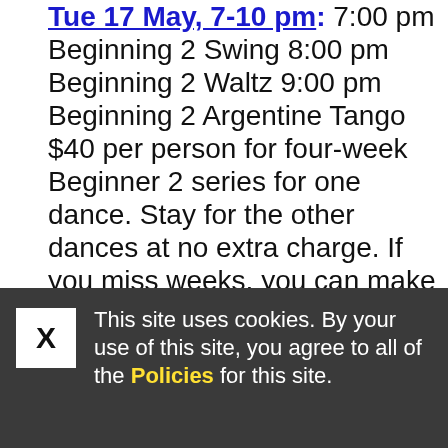Tue 17 May, 7-10 pm: 7:00 pm Beginning 2 Swing 8:00 pm Beginning 2 Waltz 9:00 pm Beginning 2 Argentine Tango $40 per person for four-week Beginner 2 series for one dance. Stay for the other dances at no extra charge. If you miss weeks, you can make them up. If you have not been through our
This site uses cookies. By your use of this site, you agree to all of the Policies for this site.